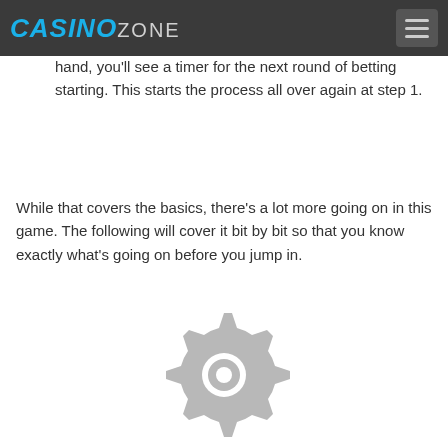CASINO ZONE
hand, you'll see a timer for the next round of betting starting. This starts the process all over again at step 1.
While that covers the basics, there's a lot more going on in this game. The following will cover it bit by bit so that you know exactly what's going on before you jump in.
[Figure (illustration): A grey gear/settings icon centered in the lower portion of the page]